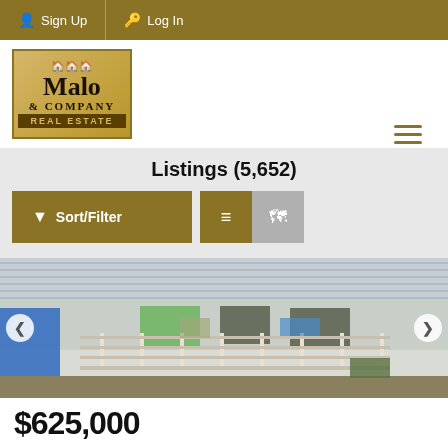Sign Up  Log In
[Figure (logo): Malo & Company Real Estate logo with house illustrations on gold/tan background]
Listings (5,652)
Sort/Filter  [list view icon]  [map view icon]
[Figure (photo): Exterior photo of a multi-story residential property with metal roof, white railings, porches/decks, and outdoor furniture]
$625,000